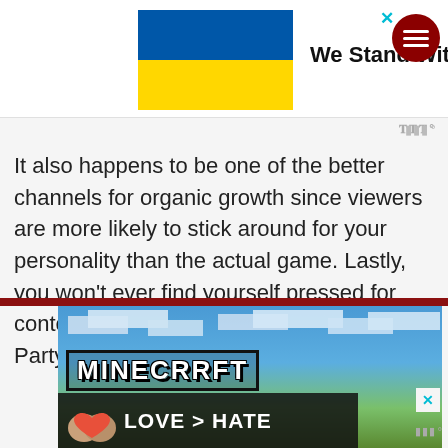[Figure (infographic): Ukraine solidarity banner with Ukrainian flag (blue and yellow) and bold text 'We Stand With You', close X button in cyan, dark red hamburger menu button top right]
It also happens to be one of the better channels for organic growth since viewers are more likely to stick around for your personality than the actual game. Lastly, you won't ever find yourself pressed for content since Jackbox releases a new Party Pack every year.
[Figure (screenshot): Advertisement banner with dark red top bar, Minecraft logo screenshot with blue sky background, and 'LOVE > HATE' overlay ad with hands forming a heart]